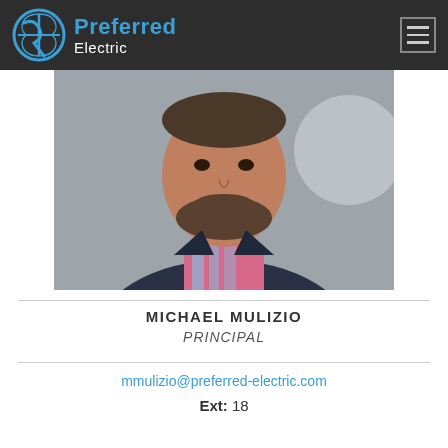Preferred Electric
[Figure (photo): Professional headshot of Michael Mulizio, a man with a beard wearing a dark navy blazer and a pink/blue plaid shirt, photographed against a light gray background.]
MICHAEL MULIZIO
PRINCIPAL
mmulizio@preferred-electric.com
Ext: 18